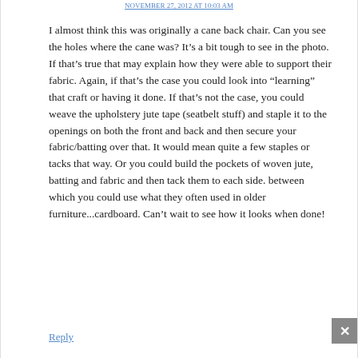NOVEMBER 27, 2012 AT 10:03 AM
I almost think this was originally a cane back chair. Can you see the holes where the cane was? It’s a bit tough to see in the photo. If that’s true that may explain how they were able to support their fabric. Again, if that’s the case you could look into “learing” that craft or having it done. If that’s not the case, you could weave the upholstery jute tape (seatbelt stuff) and staple it to the openings on both the front and back and then secure your fabric/batting over that. It would mean quite a few staples or tacks that way. Or you could build the pockets of woven jute, batting and fabric and then tack them to each side. between which you could use what they often used in older furniture...cardboard. Can’t wait to see how it looks when done!
Reply